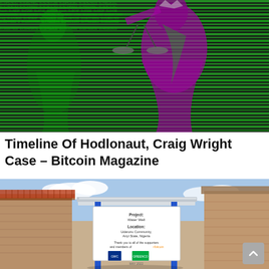[Figure (illustration): Glitched/artistic image of Lady Justice statue with green and magenta/purple color overlay and horizontal scan line effect]
Timeline Of Hodlonaut, Craig Wright Case – Bitcoin Magazine
[Figure (photo): A Water Well project sign on a metal post structure in a rural Nigerian village (Udaronu Community, Anyi State, Nigeria), with mud-brick buildings in the background. Sign references Bitcoin supporters and May 2022.]